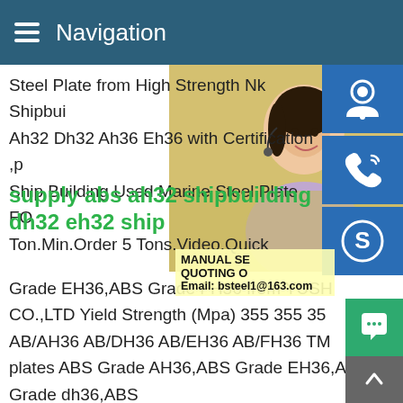Navigation
Steel Plate from High Strength Nk Shipbui Ah32 Dh32 Ah36 Eh36 with Certification ,p Ship Building Used Marine Steel Plate FO Ton.Min.Order 5 Tons.Video.Quick
supply abs ah32 shipbuilding dh32 eh32 ship
Grade EH36,ABS Grade FH36 from YUSH CO.,LTD Yield Strength (Mpa) 355 355 35 AB/AH36 AB/DH36 AB/EH36 AB/FH36 TM plates ABS Grade AH36,ABS Grade EH36,ABS Grade dh36,ABS .Get price; ah32 dh32 eh32 hot rolled marine - Cold Rolled Steel Price.ABS CCS Ah36 Shipbuilding Steel Platesupply abs ah32 shipbuilding steel ab ah32 dh32 eh32 ship ABS CCS Ah36 Shipbuilding Steel Plate; Hot Rolled BV Ah36 Dh36 Eh32 Eh3 Fh36 Marine Steel Plate.NameCarbon Steel sheet for Shipbui
MANUAL SE QUOTING O Email: bsteel1@163.com
[Figure (photo): Woman with headset, customer service representative, smiling]